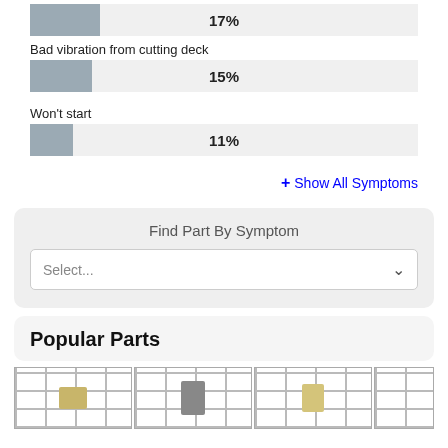[Figure (bar-chart): Symptoms chart]
+ Show All Symptoms
Find Part By Symptom
Select...
Popular Parts
[Figure (photo): Product part thumbnails (4 items partially visible)]